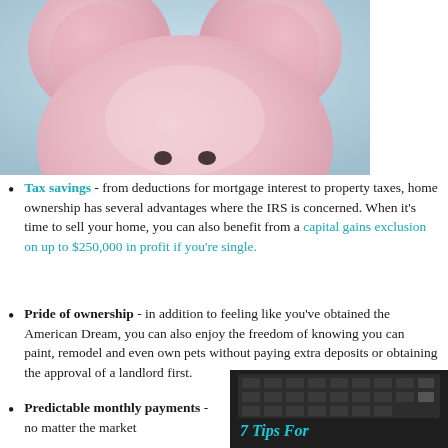[Figure (photo): Close-up photo of a pink piggy bank against a light blue background, showing the top of the pig head with ears and nostrils visible.]
Tax savings - from deductions for mortgage interest to property taxes, home ownership has several advantages where the IRS is concerned. When it's time to sell your home, you can also benefit from a capital gains exclusion on up to $250,000 in profit if you're single.
Pride of ownership - in addition to feeling like you've obtained the American Dream, you can also enjoy the freedom of knowing you can paint, remodel and even own pets without paying extra deposits or obtaining the approval of a landlord first.
Predictable monthly payments - no matter the market
[Figure (photo): Photo of a calculator with text overlay reading '7 Tips For' in teal italic font.]